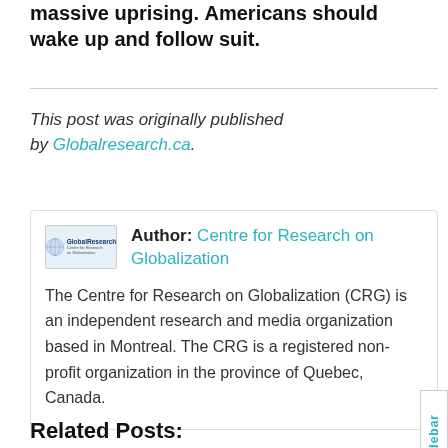massive uprising. Americans should wake up and follow suit.
This post was originally published by Globalresearch.ca.
Author: Centre for Research on Globalization
The Centre for Research on Globalization (CRG) is an independent research and media organization based in Montreal. The CRG is a registered non-profit organization in the province of Quebec, Canada.
Related Posts: